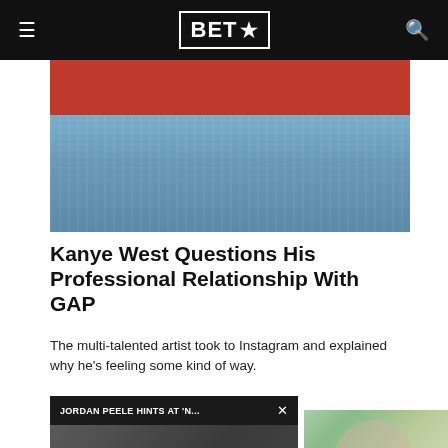BET★
[Figure (photo): Person wearing a blue denim hoodie against a red background, partial view from shoulders down]
Kanye West Questions His Professional Relationship With GAP
The multi-talented artist took to Instagram and explained why he's feeling some kind of way.
09/01/2022
[Figure (screenshot): Video popup overlay with title JORDAN PEELE HINTS AT 'N... and a replay button on a dark blurred background]
[Figure (photo): Person smiling and laughing at an outdoor event, crowd in background]